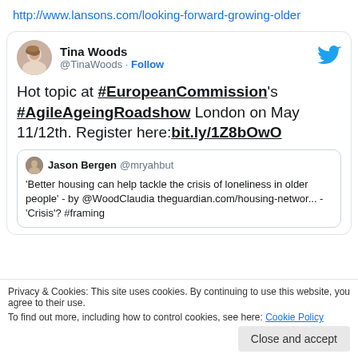http://www.lansons.com/looking-forward-growing-older
[Figure (screenshot): Tweet from Tina Woods (@TinaWoods) with a Follow button and Twitter bird icon. Tweet text: Hot topic at #EuropeanCommission's #AgileAgeingRoadshow London on May 11/12th. Register here:bit.ly/1Z8bOwO. Quoted tweet from Jason Bergen @mryahbut: 'Better housing can help tackle the crisis of loneliness in older people' - by @WoodClaudia theguardian.com/housing-networ... -'Crisis'? #framing]
Privacy & Cookies: This site uses cookies. By continuing to use this website, you agree to their use.
To find out more, including how to control cookies, see here: Cookie Policy
Close and accept